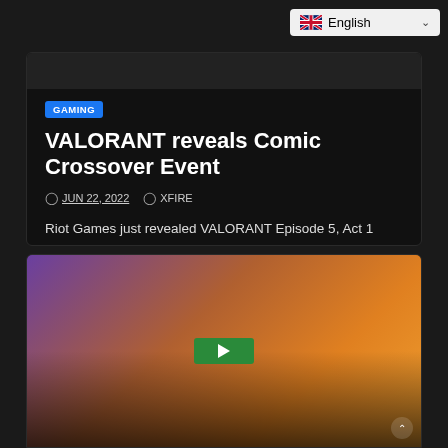English
GAMING
VALORANT reveals Comic Crossover Event
JUN 22, 2022   XFIRE
Riot Games just revealed VALORANT Episode 5, Act 1 Cosmic Crossover Event that includes an exclusive battle pass to celebrate...
[Figure (photo): Article thumbnail image area for second card, showing a colorful gradient background with purple, orange, and yellow tones, with a green play button]